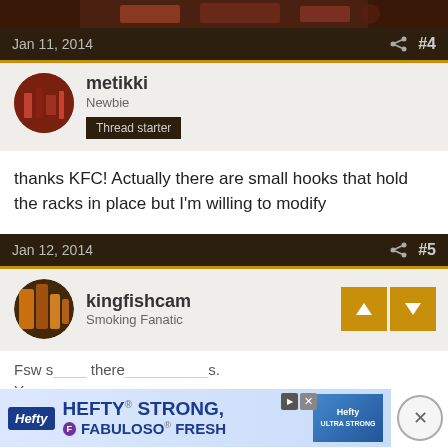[Figure (photo): Partial top image of food/meat, dark background]
Jan 11, 2014  #4
metikki
Newbie
Thread starter
thanks KFC!  Actually there are small hooks that hold the racks in place but I'm willing to modify
Jan 12, 2014  #5
kingfishcam
Smoking Fanatic
Fsw s... You s...
[Figure (screenshot): Hefty STRONG, FABULOSO FRESH advertisement banner]